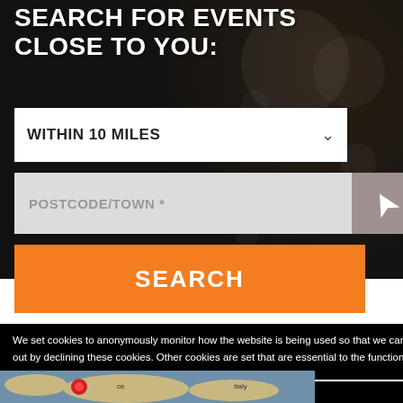SEARCH FOR EVENTS CLOSE TO YOU:
WITHIN 10 MILES
POSTCODE/TOWN *
SEARCH
We set cookies to anonymously monitor how the website is being used so that we can make improvements. You can opt out by declining these cookies. Other cookies are set that are essential to the function of the website and can't be removed. Learn more
Decline
Allow
[Figure (map): World map showing Russia and Mongolia regions]
[Figure (map): World map bottom strip showing Italy and surrounding area]